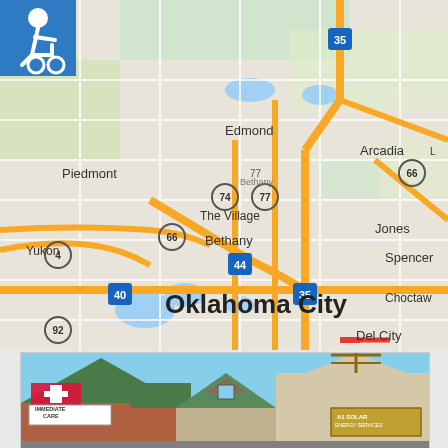[Figure (map): Google Maps view of Oklahoma City area showing major highways and surrounding cities including Edmond, Arcadia, The Village, Bethany, Spencer, Choctaw, Del City, Piedmont, Yukon. Major routes shown: I-35, I-40, I-44, Route 66, Route 74, Route 77, Route 4, Route 92. The map has a wheelchair accessibility icon in the top-left corner.]
[Figure (photo): Street-level photo of a Walgreens Immediate Care clinic building with green roof, brick exterior, and a sign reading 'IMMEDIATE CARE'. Another business sign is visible on the right side of the building.]